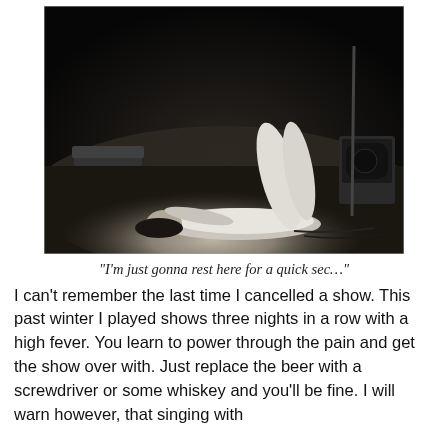[Figure (photo): Black and white photograph of a person lying on their back on a stage floor, with stage equipment (an amplifier and a monitor) visible in the background. The performer is dressed in light-colored clothing with their head facing upward.]
“I’m just gonna rest here for a quick sec…”
I can't remember the last time I cancelled a show. This past winter I played shows three nights in a row with a high fever. You learn to power through the pain and get the show over with. Just replace the beer with a screwdriver or some whiskey and you'll be fine. I will warn however, that singing with